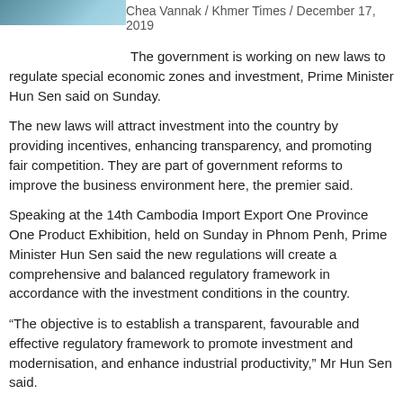[Figure (photo): Partial image visible at top-left corner of the page]
Chea Vannak / Khmer Times / December 17, 2019
The government is working on new laws to regulate special economic zones and investment, Prime Minister Hun Sen said on Sunday.
The new laws will attract investment into the country by providing incentives, enhancing transparency, and promoting fair competition. They are part of government reforms to improve the business environment here, the premier said.
Speaking at the 14th Cambodia Import Export One Province One Product Exhibition, held on Sunday in Phnom Penh, Prime Minister Hun Sen said the new regulations will create a comprehensive and balanced regulatory framework in accordance with the investment conditions in the country.
“The objective is to establish a transparent, favourable and effective regulatory framework to promote investment and modernisation, and enhance industrial productivity,” Mr Hun Sen said.
The Council for the Development of Cambodia (CDC) is drafting the laws, he pointed out.
According to CDC, there are 23 active SEZs, employing a combined